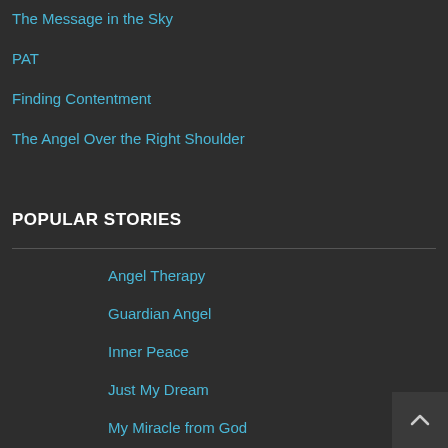The Message in the Sky
PAT
Finding Contentment
The Angel Over the Right Shoulder
POPULAR STORIES
Angel Therapy
Guardian Angel
Inner Peace
Just My Dream
My Miracle from God